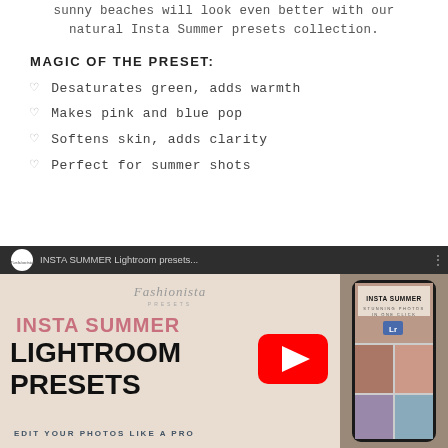sunny beaches will look even better with our natural Insta Summer presets collection.
MAGIC OF THE PRESET:
♡ Desaturates green, adds warmth
♡ Makes pink and blue pop
♡ Softens skin, adds clarity
♡ Perfect for summer shots
[Figure (screenshot): YouTube video thumbnail for INSTA SUMMER Lightroom presets by Fashionista Presets, showing a YouTube play button overlay on a promotional graphic for Insta Summer Lightroom Presets with phone mockup on the right.]